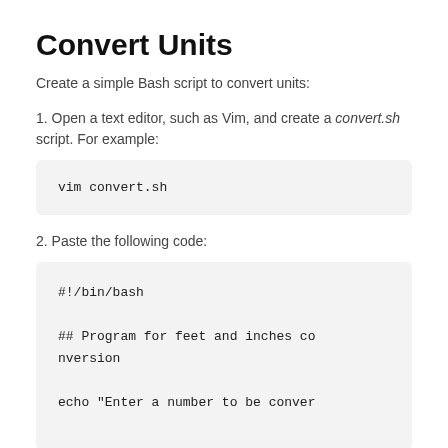Convert Units
Create a simple Bash script to convert units:
1. Open a text editor, such as Vim, and create a convert.sh script. For example:
[Figure (screenshot): Code block showing: vim convert.sh]
2. Paste the following code:
[Figure (screenshot): Code block showing: #!/bin/bash

## Program for feet and inches conversion

echo "Enter a number to be conver]